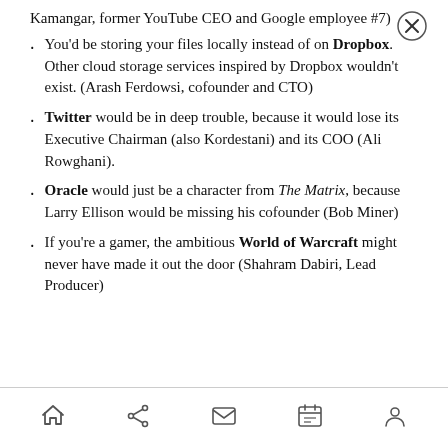Kamangar, former YouTube CEO and Google employee #7)
You'd be storing your files locally instead of on Dropbox. Other cloud storage services inspired by Dropbox wouldn't exist. (Arash Ferdowsi, cofounder and CTO)
Twitter would be in deep trouble, because it would lose its Executive Chairman (also Kordestani) and its COO (Ali Rowghani).
Oracle would just be a character from The Matrix, because Larry Ellison would be missing his cofounder (Bob Miner)
If you're a gamer, the ambitious World of Warcraft might never have made it out the door (Shahram Dabiri, Lead Producer)
Navigation bar with home, share, mail, calendar, and profile icons